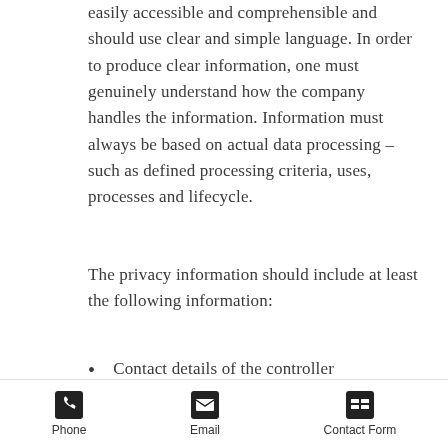easily accessible and comprehensible and should use clear and simple language. In order to produce clear information, one must genuinely understand how the company handles the information. Information must always be based on actual data processing – such as defined processing criteria, uses, processes and lifecycle.
The privacy information should include at least the following information:
Contact details of the controller
Information to be processed
Phone  Email  Contact Form